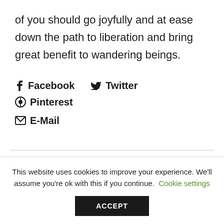of you should go joyfully and at ease down the path to liberation and bring great benefit to wandering beings.
f  Facebook   🐦  Twitter   Ⓟ  Pinterest
✉  E-Mail
This website uses cookies to improve your experience. We'll assume you're ok with this if you continue.   Cookie settings
ACCEPT